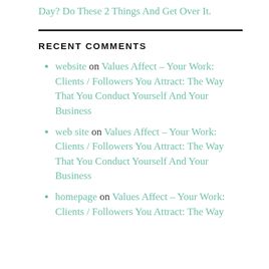Day? Do These 2 Things And Get Over It.
RECENT COMMENTS
website on Values Affect – Your Work: Clients / Followers You Attract: The Way That You Conduct Yourself And Your Business
web site on Values Affect – Your Work: Clients / Followers You Attract: The Way That You Conduct Yourself And Your Business
homepage on Values Affect – Your Work: Clients / Followers You Attract: The Way